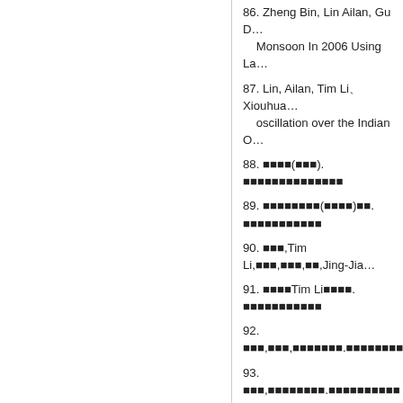86. Zheng Bin, Lin Ailan, Gu D… Monsoon In 2006 Using La…
87. Lin, Ailan, Tim Li、Xiouhua… oscillation over the Indian O…
88. [CJK chars](CJK). [CJK chars]…
89. [CJK chars](CJK)CJK. [CJK chars]…
90. [CJK],Tim Li,[CJK],[CJK],[CJK],Jing-Jia…
91. [CJK]Tim Li[CJK]. [CJK chars]…
92. [CJK],[CJK],[CJK chars].[CJK chars]…
93. [CJK],[CJK chars].[CJK chars]…
94. [CJK], [CJK chars], [CJK]. [CJK chars]…
95. LI Chunhui, Tim li, Jiangyin… and Their Relationship with…
96. [CJK] [CJK] [CJK chars]. 1976[CJK]…
97. [CJK chars]. [CJK]Shepard、OI[CJK]…
98. [CJK] [CJK chars]. CJK-[CJK chars]…
99. [CJK chars]. [CJK chars]. [CJK]…
100. Dejun Gu, Tim Li, Zhongpi…